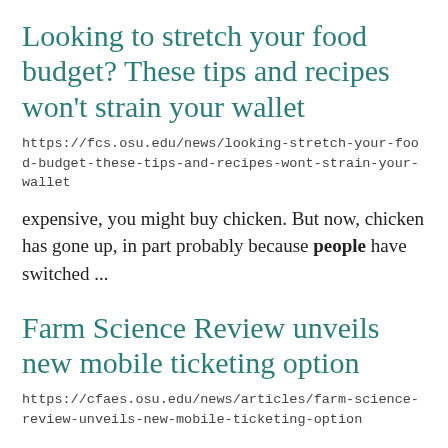Looking to stretch your food budget? These tips and recipes won't strain your wallet
https://fcs.osu.edu/news/looking-stretch-your-food-budget-these-tips-and-recipes-wont-strain-your-wallet
expensive, you might buy chicken. But now, chicken has gone up, in part probably because people have switched ...
Farm Science Review unveils new mobile ticketing option
https://cfaes.osu.edu/news/articles/farm-science-review-unveils-new-mobile-ticketing-option
Sept. 22. More than 100,000 people are